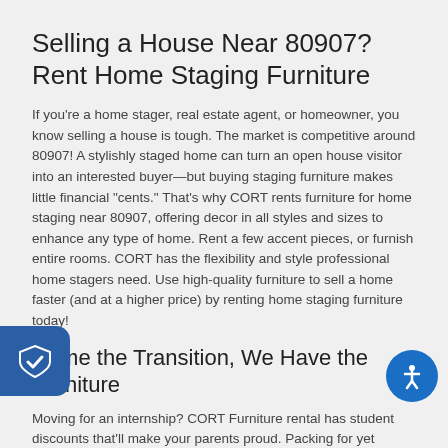Selling a House Near 80907? Rent Home Staging Furniture
If you're a home stager, real estate agent, or homeowner, you know selling a house is tough. The market is competitive around 80907! A stylishly staged home can turn an open house visitor into an interested buyer—but buying staging furniture makes little financial "cents." That's why CORT rents furniture for home staging near 80907, offering decor in all styles and sizes to enhance any type of home. Rent a few accent pieces, or furnish entire rooms. CORT has the flexibility and style professional home stagers need. Use high-quality furniture to sell a home faster (and at a higher price) by renting home staging furniture today!
Name the Transition, We Have the Furniture
Moving for an internship? CORT Furniture rental has student discounts that'll make your parents proud. Packing for yet another military duty station? Cut stress and save money with CORT military packages and discounts. Need a couple of extra…